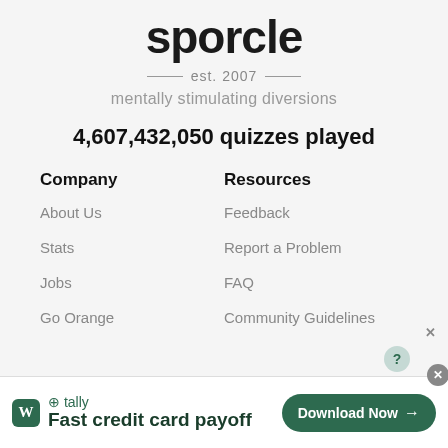sporcle
est. 2007
mentally stimulating diversions
4,607,432,050 quizzes played
Company
About Us
Stats
Jobs
Go Orange
Resources
Feedback
Report a Problem
FAQ
Community Guidelines
[Figure (screenshot): Tally advertisement banner: logo, 'Fast credit card payoff', Download Now button]